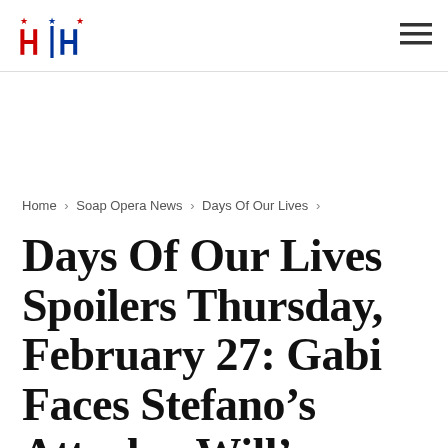HH Logo | Hamburger menu
Home > Soap Opera News > Days Of Our Lives >
Days Of Our Lives Spoilers Thursday, February 27: Gabi Faces Stefano’s Attack – Will’s Homecoming Stuns